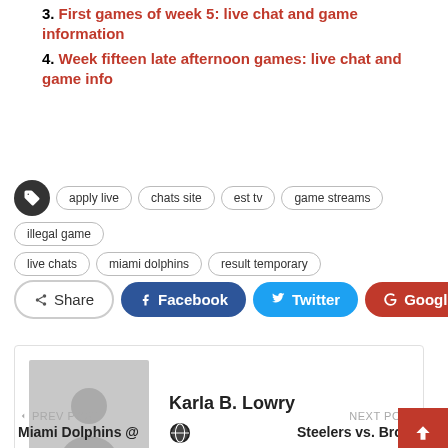3. First games of week 5: live chat and game information
4. Week fifteen late afternoon games: live chat and game info
apply live  chats site  est tv  game streams  illegal game  live chats  miami dolphins  result temporary
Share  Facebook  Twitter  Google+  +
Karla B. Lowry
PREV POST
Miami Dolphins @
NEXT POST
Steelers vs. Browns